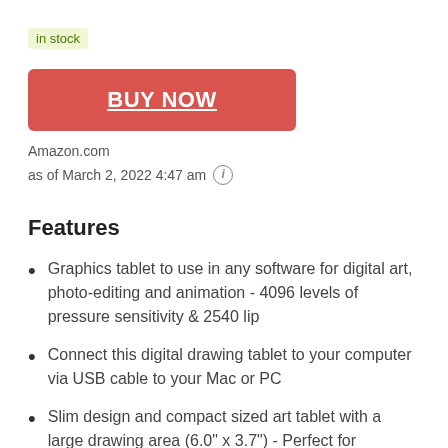in stock
[Figure (other): Red BUY NOW button]
Amazon.com
as of March 2, 2022 4:47 am ℹ
Features
Graphics tablet to use in any software for digital art, photo-editing and animation - 4096 levels of pressure sensitivity & 2540 lip
Connect this digital drawing tablet to your computer via USB cable to your Mac or PC
Slim design and compact sized art tablet with a large drawing area (6.0" x 3.7") - Perfect for